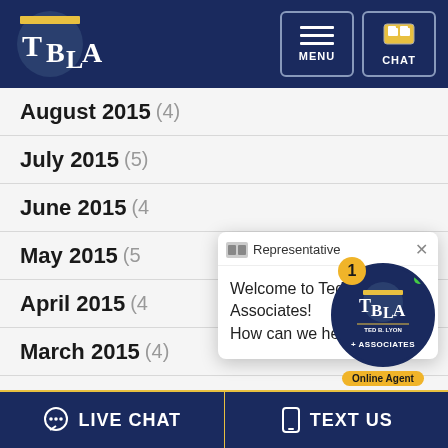[Figure (logo): TBLA logo — Ted B. Lyon & Associates on dark navy header with menu and chat buttons]
August 2015 (4)
July 2015 (5)
June 2015 (4)
May 2015 (5)
April 2015 (4)
March 2015 (4)
February 2015 (8)
[Figure (screenshot): Live chat popup: Representative with avatar icon, close X button, message: Welcome to Ted B. Lyon & Associates! How can we help you?]
[Figure (logo): TBLA chat widget with notification badge showing 1, Ted B. Lyon + Associates circular logo with online agent label]
LIVE CHAT   TEXT US